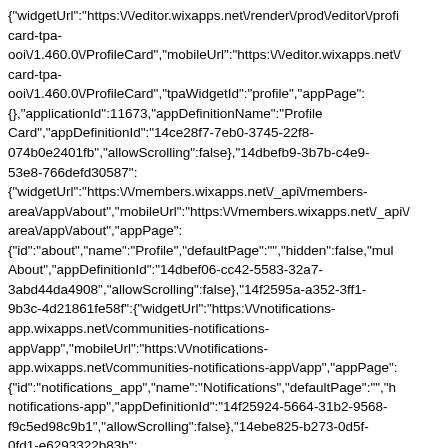{"widgetUrl":"https:\/\/editor.wixapps.net\/render\/prod\/editor\/profile-card-tpa-ooi\/1.460.0\/ProfileCard","mobileUrl":"https:\/\/editor.wixapps.net\/...card-tpa-ooi\/1.460.0\/ProfileCard","tpaWidgetId":"profile","appPage":{},"applicationId":11673,"appDefinitionName":"Profile Card","appDefinitionId":"14ce28f7-7eb0-3745-22f8-074b0e2401fb","allowScrolling":false},"14dbefb9-3b7b-c4e9-53e8-766defd30587":{"widgetUrl":"https:\/\/members.wixapps.net\/_api\/members-area\/app\/about","mobileUrl":"https:\/\/members.wixapps.net\/_api\/...area\/app\/about","appPage":{"id":"about","name":"Profile","defaultPage":"","hidden":false,"mul...About","appDefinitionId":"14dbef06-cc42-5583-32a7-3abd44da4908","allowScrolling":false},"14f2595a-a352-3ff1-9b3c-4d21861fe58f":{"widgetUrl":"https:\/\/notifications-app.wixapps.net\/communities-notifications-app\/app","mobileUrl":"https:\/\/notifications-app.wixapps.net\/communities-notifications-app\/app","appPage":{"id":"notifications_app","name":"Notifications","defaultPage":"","h...notifications-app","appDefinitionId":"14f25924-5664-31b2-9568-f9c5ed98c9b1","allowScrolling":false},"14ebe825-b273-0d5f-0fd1-e6293322b83b":{"widgetUrl":"https:\/\/members.wixapps.net\/_api\/members-area\/app\/ff","mobileUrl":"https:\/\/members.wixapps.net\/_api\/me...